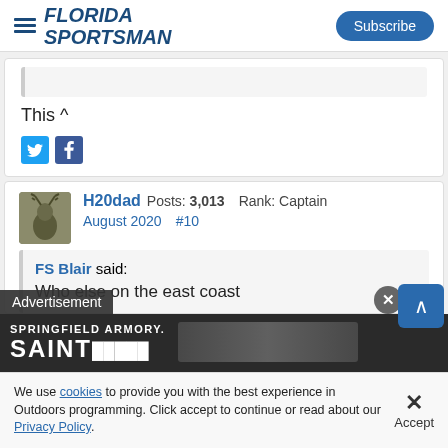FLORIDA SPORTSMAN | Subscribe
This ^
H20dad Posts: 3,013 Rank: Captain August 2020 #10
FS Blair said: Who else on the east coast
Advertisement - SPRINGFIELD ARMORY. SAINT
We use cookies to provide you with the best experience in Outdoors programming. Click accept to continue or read about our Privacy Policy.